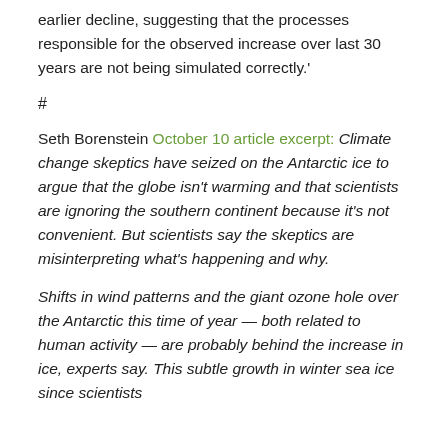earlier decline, suggesting that the processes responsible for the observed increase over last 30 years are not being simulated correctly.'
#
Seth Borenstein October 10 article excerpt: Climate change skeptics have seized on the Antarctic ice to argue that the globe isn't warming and that scientists are ignoring the southern continent because it's not convenient. But scientists say the skeptics are misinterpreting what's happening and why.
Shifts in wind patterns and the giant ozone hole over the Antarctic this time of year — both related to human activity — are probably behind the increase in ice, experts say. This subtle growth in winter sea ice since scientists